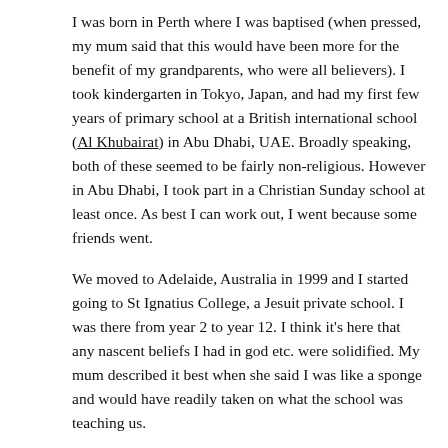I was born in Perth where I was baptised (when pressed, my mum said that this would have been more for the benefit of my grandparents, who were all believers). I took kindergarten in Tokyo, Japan, and had my first few years of primary school at a British international school (Al Khubairat) in Abu Dhabi, UAE. Broadly speaking, both of these seemed to be fairly non-religious. However in Abu Dhabi, I took part in a Christian Sunday school at least once. As best I can work out, I went because some friends went.
We moved to Adelaide, Australia in 1999 and I started going to St Ignatius College, a Jesuit private school. I was there from year 2 to year 12. I think it's here that any nascent beliefs I had in god etc. were solidified. My mum described it best when she said I was like a sponge and would have readily taken on what the school was teaching us.